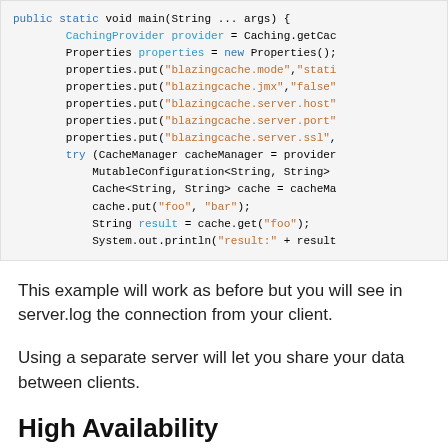[Figure (screenshot): Code block showing Java code with CachingProvider, Properties, and Cache usage with blazingcache configuration.]
This example will work as before but you will see in server.log the connection from your client.
Using a separate server will let you share your data between clients.
High Availability